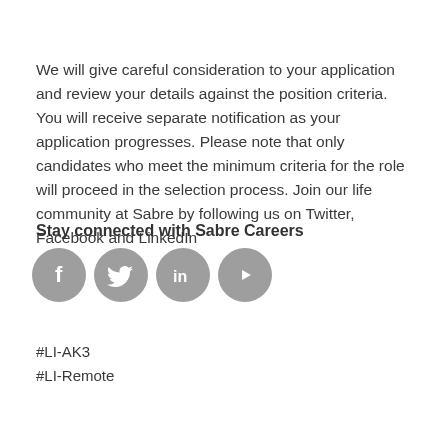We will give careful consideration to your application and review your details against the position criteria. You will receive separate notification as your application progresses. Please note that only candidates who meet the minimum criteria for the role will proceed in the selection process. Join our life community at Sabre by following us on Twitter, Facebook and LinkedIn
Stay connected with Sabre Careers
[Figure (illustration): Four grey circular social media icons: Facebook (f), Twitter (bird), LinkedIn (in), YouTube (play button)]
#LI-AK3
#LI-Remote